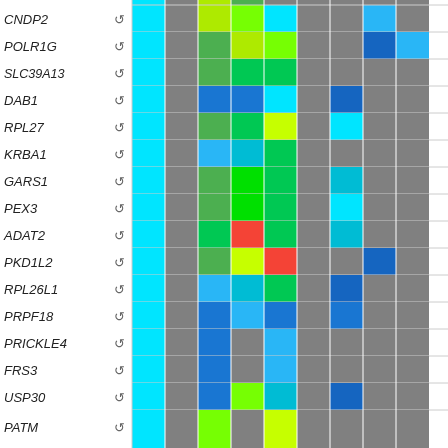[Figure (other): Heatmap grid showing gene expression data for multiple genes (CNDP2, POLR1G, SLC39A13, DAB1, RPL27, KRBA1, GARS1, PEX3, ADAT2, PKD1L2, RPL26L1, PRPF18, PRICKLE4, FRS3, USP30, PATM) across multiple conditions/columns. Colors range from gray (no data/low) through cyan, blue, green, yellow-green, yellow, to red indicating expression levels.]